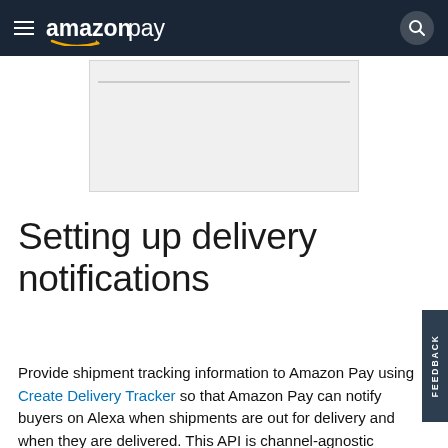Amazon Pay
[Figure (screenshot): Screenshot placeholder showing a light gray rectangular area representing a UI screenshot, partially visible below the navigation bar.]
Setting up delivery notifications
Provide shipment tracking information to Amazon Pay using Create Delivery Tracker so that Amazon Pay can notify buyers on Alexa when shipments are out for delivery and when they are delivered. This API is channel-agnostic